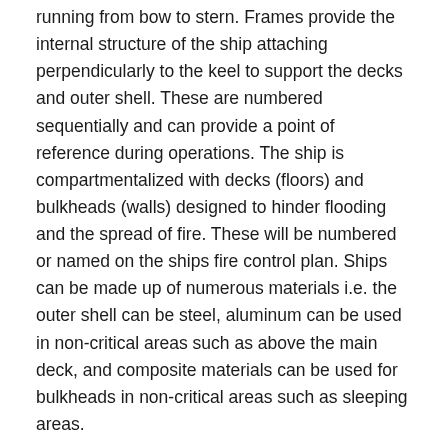running from bow to stern. Frames provide the internal structure of the ship attaching perpendicularly to the keel to support the decks and outer shell. These are numbered sequentially and can provide a point of reference during operations. The ship is compartmentalized with decks (floors) and bulkheads (walls) designed to hinder flooding and the spread of fire. These will be numbered or named on the ships fire control plan. Ships can be made up of numerous materials i.e. the outer shell can be steel, aluminum can be used in non-critical areas such as above the main deck, and composite materials can be used for bulkheads in non-critical areas such as sleeping areas.
The Ships Arrangement
Large commercial ships are quite unique structures. They can